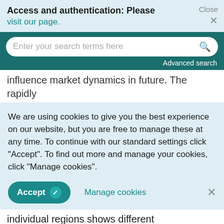Access and authentication: Please visit our page.
Close ×
Enter your search terms here
Advanced search
influence market dynamics in future. The rapidly
We are using cookies to give you the best experience on our website, but you are free to manage these at any time. To continue with our standard settings click "Accept". To find out more and manage your cookies, click "Manage cookies".
Accept  Manage cookies  ×
individual regions shows different developments.